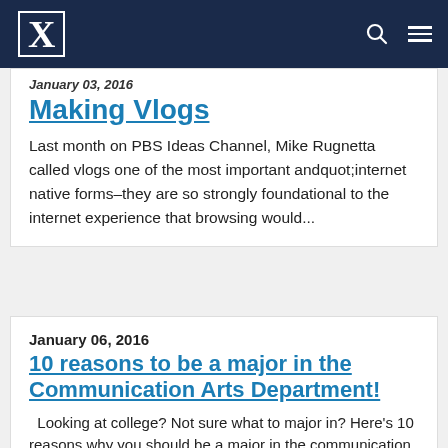Xavier University navigation bar with logo, search, and menu icons
January 03, 2016
Making Vlogs
Last month on PBS Ideas Channel, Mike Rugnetta called vlogs one of the most important andquot;internet native forms–they are so strongly foundational to the internet experience that browsing would...
January 06, 2016
10 reasons to be a major in the Communication Arts Department!
Looking at college? Not sure what to major in? Here's 10 reasons why you should be a major in the communication arts department! 1. It's NOT